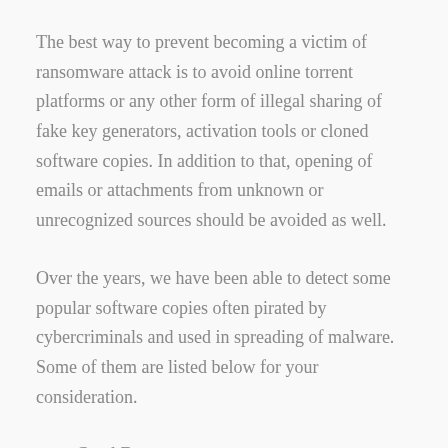The best way to prevent becoming a victim of ransomware attack is to avoid online torrent platforms or any other form of illegal sharing of fake key generators, activation tools or cloned software copies. In addition to that, opening of emails or attachments from unknown or unrecognized sources should be avoided as well.
Over the years, we have been able to detect some popular software copies often pirated by cybercriminals and used in spreading of malware. Some of them are listed below for your consideration.
Corel Draw;
Adobe Illustrator/Photoshop/Premiere